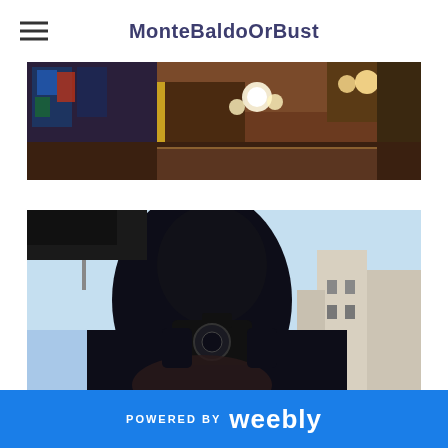MonteBaldoOrBust
[Figure (photo): Interior photo showing stained glass windows, ornate golden frames, warm glowing light fixtures and chandeliers on ceiling]
[Figure (photo): Silhouette of a person holding a camera up to their face, photographing outdoors with European-style buildings and blue sky in background]
POWERED BY weebly